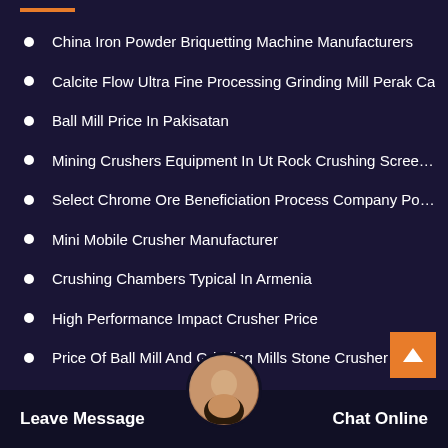China Iron Powder Briquetting Machine Manufacturers
Calcite Flow Ultra Fine Processing Grinding Mill Perak Ca
Ball Mill Price In Pakisatan
Mining Crushers Equipment In Ut Rock Crushing Screenin…
Select Chrome Ore Beneficiation Process Company Portal …
Mini Mobile Crusher Manufacturer
Crushing Chambers Typical In Armenia
High Performance Impact Crusher Price
Price Of Ball Mill And Grinding Mills Stone Crusher Used
D…ndono…table Cru…ton…